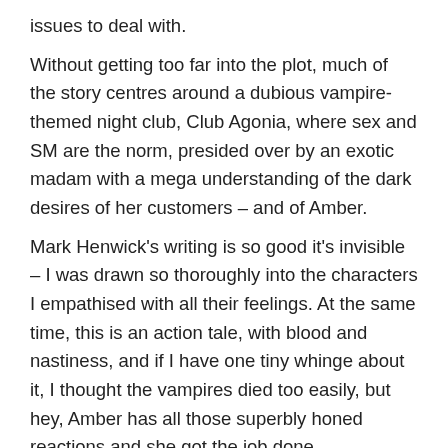issues to deal with. Without getting too far into the plot, much of the story centres around a dubious vampire-themed night club, Club Agonia, where sex and SM are the norm, presided over by an exotic madam with a mega understanding of the dark desires of her customers – and of Amber. Mark Henwick's writing is so good it's invisible – I was drawn so thoroughly into the characters I empathised with all their feelings. At the same time, this is an action tale, with blood and nastiness, and if I have one tiny whinge about it, I thought the vampires died too easily, but hey, Amber has all those superbly honed reactions and she got the job done. This novella is a prequel to Henwick's popular 'Bite Back' series, and I enjoyed it so much I went straight out and bought Sleight of Hand as soon as I was finished.